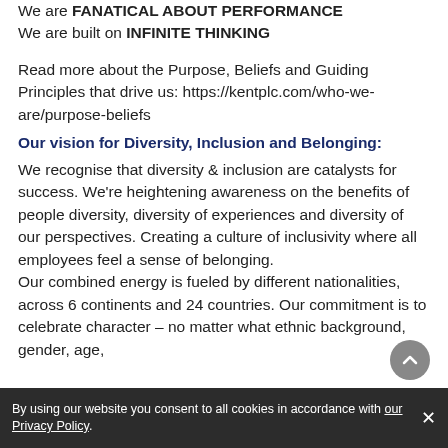We are FANATICAL ABOUT PERFORMANCE
We are built on INFINITE THINKING
Read more about the Purpose, Beliefs and Guiding Principles that drive us: https://kentplc.com/who-we-are/purpose-beliefs
Our vision for Diversity, Inclusion and Belonging:
We recognise that diversity & inclusion are catalysts for success. We're heightening awareness on the benefits of people diversity, diversity of experiences and diversity of our perspectives. Creating a culture of inclusivity where all employees feel a sense of belonging.
Our combined energy is fueled by different nationalities, across 6 continents and 24 countries. Our commitment is to celebrate character – no matter what ethnic background, gender, age,
By using our website you consent to all cookies in accordance with our Privacy Policy.